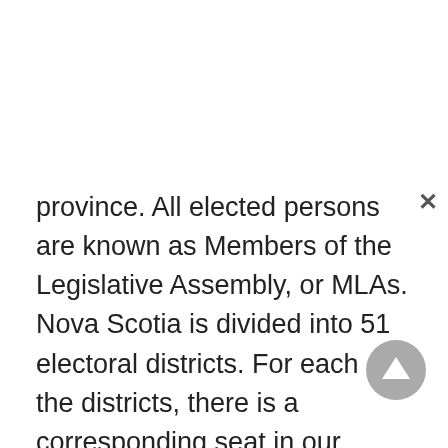province. All elected persons are known as Members of the Legislative Assembly, or MLAs. Nova Scotia is divided into 51 electoral districts. For each of the districts, there is a corresponding seat in our Legislative Assembly (also called our House of Assembly). These districts are further divided into polling divisions. Each polling division usually includes 250-450 voters. On election day, you go to the location of your polling station and cast your vote for the candidate of your choice running in your electoral district. When the polls are closed, all the votes in your polling division are counted. These are then added to the results from all the other polling divisions in your